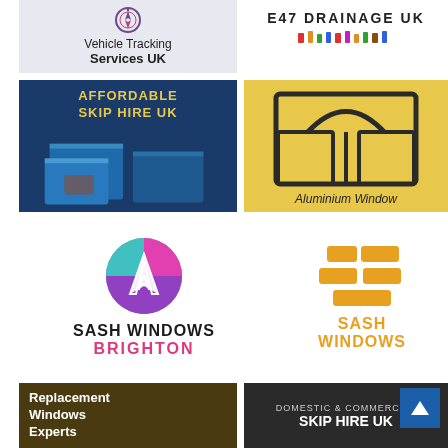[Figure (logo): Vehicle Tracking Services UK logo with compass/satellite icon]
[Figure (logo): E47 Drainage UK logo with colourful tools/figures icons]
[Figure (logo): Affordable Skip Hire UK logo with blue skip photo]
[Figure (logo): Aluminium Window logo with yellow background and window illustration]
[Figure (logo): Sash Windows Brighton logo with circle A icon in magenta/teal]
[Figure (logo): Sash Windows logo with gold stacked squares icon]
[Figure (logo): Replacement Windows Experts logo with dark olive/yellow background]
[Figure (logo): Domestic & Commercial Skip Hire UK logo with yellow skip photo]